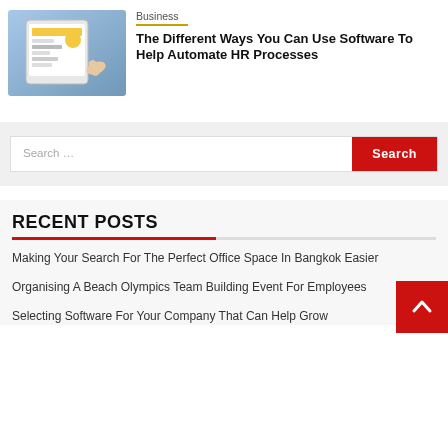[Figure (photo): Person using a tablet with digital dashboard/HR software interface visible on screen]
Business
The Different Ways You Can Use Software To Help Automate HR Processes
Search …
RECENT POSTS
Making Your Search For The Perfect Office Space In Bangkok Easier
Organising A Beach Olympics Team Building Event For Employees
Selecting Software For Your Company That Can Help Grow